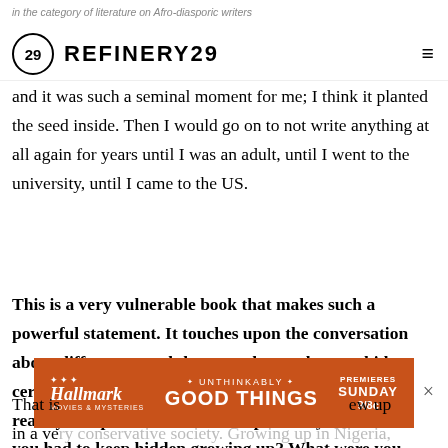in the category of literature on Afro-diasporic writers
REFINERY29
and it was such a seminal moment for me; I think it planted the seed inside. Then I would go on to not write anything at all again for years until I was an adult, until I went to the university, until I came to the US.
This is a very vulnerable book that makes such a powerful statement. It touches upon the conversation about differences and the ways that we have to hide certain parts of ourselves because society may not readily accept them. Were there parts of yourself that you had to keep hidden growing up? What were you taught about sexuality and gender?
[Figure (other): Hallmark Movies & Mysteries advertisement banner with orange background. Text reads: UNTHINKABLY GOOD THINGS, PREMIERES SUNDAY 9/8c]
That is ... [advertisement overlay] ... ew up in a very conservative society. Growing up in Nigeria,